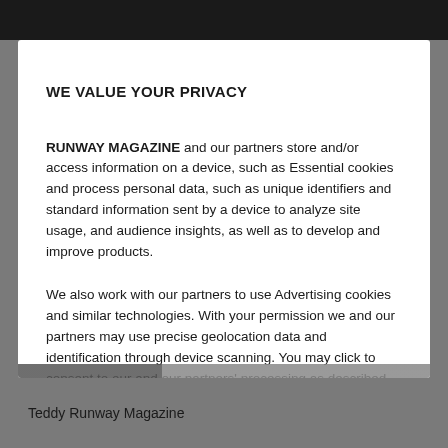WE VALUE YOUR PRIVACY
RUNWAY MAGAZINE and our partners store and/or access information on a device, such as Essential cookies and process personal data, such as unique identifiers and standard information sent by a device to analyze site usage, and audience insights, as well as to develop and improve products.
We also work with our partners to use Advertising cookies and similar technologies. With your permission we and our partners may use precise geolocation data and identification through device scanning. You may click to consent to our and our partners' processing as described above. Alternatively you may access more detailed information and change your preferences before consenting or to refuse consenting.
Teddy Runway Magazine